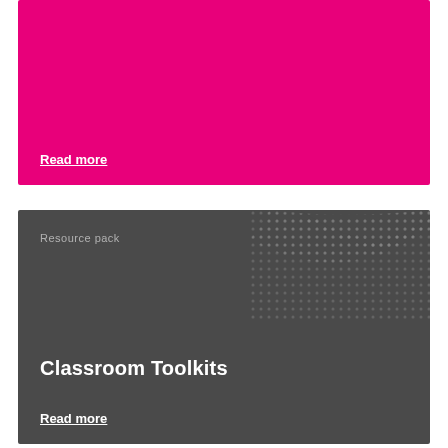[Figure (illustration): Pink/magenta colored card block with a 'Read more' link at the bottom in white underlined text.]
Read more
[Figure (illustration): Dark gray card block with a dotted arc pattern in the top-right corner, a 'Resource pack' label, 'Classroom Toolkits' title in bold white, and a 'Read more' link at the bottom in white underlined text.]
Resource pack
Classroom Toolkits
Read more